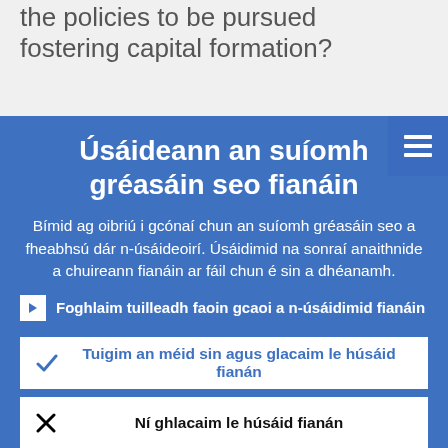the policies to be pursued fostering capital formation?
Úsáideann an suíomh gréasáin seo fianáin
Bímid ag oibriú i gcónaí chun an suíomh gréasáin seo a fheabhsú dár n-úsáideoirí. Úsáidimid na sonraí anaithnide a chuireann fianáin ar fáil chun é sin a dhéanamh.
Foghlaim tuilleadh faoin gcaoi a n-úsáidimid fianáin
Tuigim an méid sin agus glacaim le húsáid fianán
Ní ghlacaim le húsáid fianán